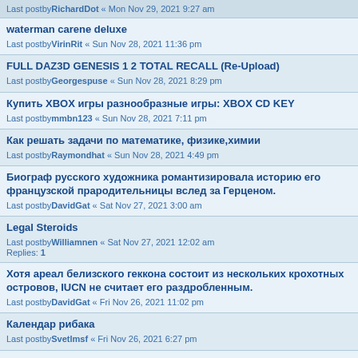Last postbyRichardDot « Mon Nov 29, 2021 9:27 am
waterman carene deluxe
Last postbyVirinRit « Sun Nov 28, 2021 11:36 pm
FULL DAZ3D GENESIS 1 2 TOTAL RECALL (Re-Upload)
Last postbyGeorgespuse « Sun Nov 28, 2021 8:29 pm
Купить XBOX игры разнообразные игры: XBOX CD KEY
Last postbymmbn123 « Sun Nov 28, 2021 7:11 pm
Как решать задачи по математике, физике,химии
Last postbyRaymondhat « Sun Nov 28, 2021 4:49 pm
Биограф русского художника романтизировала историю его французской прародительницы вслед за Герценом.
Last postbyDavidGat « Sat Nov 27, 2021 3:00 am
Legal Steroids
Last postbyWilliamnen « Sat Nov 27, 2021 12:02 am
Replies: 1
Хотя ареал белизского геккона состоит из нескольких крохотных островов, IUCN не считает его раздробленным.
Last postbyDavidGat « Fri Nov 26, 2021 11:02 pm
Календар рибака
Last postbySvetlmsf « Fri Nov 26, 2021 6:27 pm
Якого числа Благовіщення Пресвятої Богородиці в 2022 році
Last postbySvetlaso « Fri Nov 26, 2021 6:25 pm
Якого числа хелловін